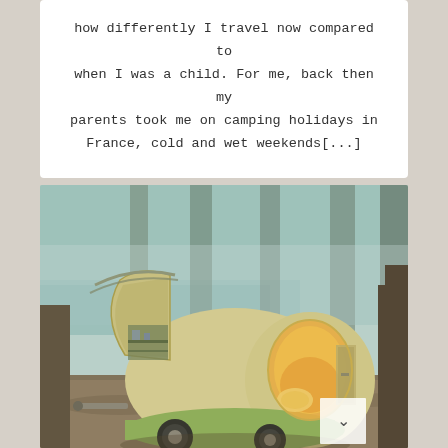how differently I travel now compared to when I was a child. For me, back then my parents took me on camping holidays in France, cold and wet weekends[...]
[Figure (photo): A teardrop-shaped camper trailer with a cream/yellow exterior and orange interior seating, parked in a misty forest with tall pine trees and a lake visible in the background. The camper's rear hatch is open revealing a small kitchen area.]